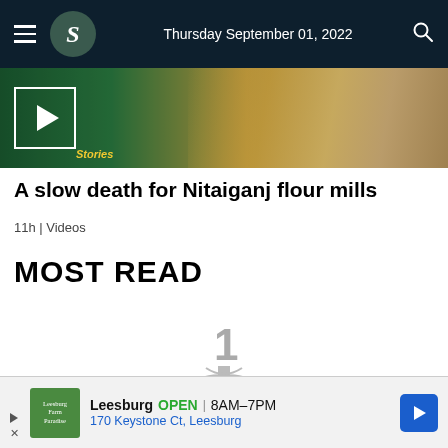Thursday September 01, 2022
[Figure (screenshot): Video thumbnail showing flour, wheat grain, and a play button, with 'Stories' label at bottom left]
A slow death for Nitaiganj flour mills
11h | Videos
MOST READ
[Figure (infographic): Number 1 ranking icon in gray, partially visible with a medal/trophy shape below]
Leesburg  OPEN  8AM–7PM  170 Keystone Ct, Leesburg